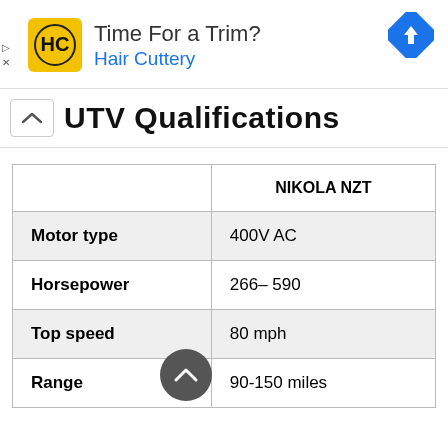[Figure (other): Hair Cuttery advertisement banner with logo (HC in yellow square), text 'Time For a Trim?' and 'Hair Cuttery' in blue, and a blue diamond navigation icon on the right.]
UTV Qualifications
|  | NIKOLA NZT |
| --- | --- |
| Motor type | 400V AC |
| Horsepower | 266– 590 |
| Top speed | 80 mph |
| Range | 90-150 miles |